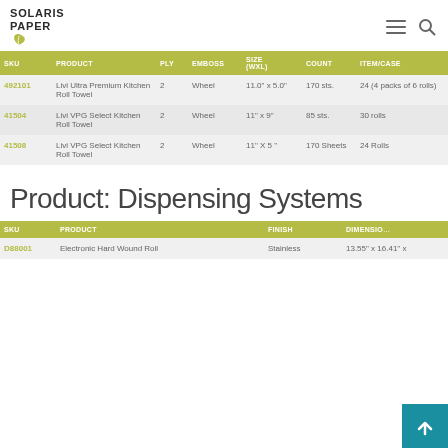SOLARIS PAPER
| SKU | PRODUCT | PLY | EMBOSS | SIZE (WXL) | COUNT | ITEM/CASE |
| --- | --- | --- | --- | --- | --- | --- |
| 492101 | Livi Ultra Premium Kitchen Roll Towel | 2 | Wheel | 11.0" x 5.0" | 170 sts. | 24 (4 packs of 6 rolls) |
| 41504 | Livi VPG Select Kitchen Roll Towel | 2 | Wheel | 11" x 9" | 85 sts. | 30 rolls |
| 41508 | Livi VPG Select Kitchen Roll Towel | 2 | Wheel | 11" X 5 " | 170 Sheets | 24 Rolls |
Product: Dispensing Systems
| SKU | PRODUCT | FINISH | DIMENSIONS |
| --- | --- | --- | --- |
| D88001 | Electronic Hard Wound Roll | Stainless | 13.55" x 16.41" x ... |